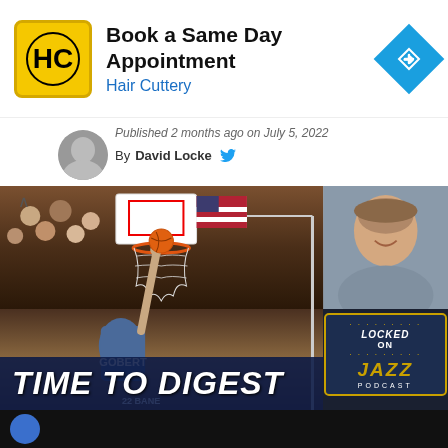[Figure (infographic): Hair Cuttery advertisement banner with HC logo, text 'Book a Same Day Appointment / Hair Cuttery', and blue diamond navigation icon]
Published 2 months ago on July 5, 2022
By David Locke
[Figure (photo): Sports podcast thumbnail showing NBA player Gobert dunking with crowd, text 'TIME TO DIGEST', and Locked On Jazz Podcast logo with host photo]
[Figure (screenshot): Bottom partial advertisement bar, dark background with blue circle element]